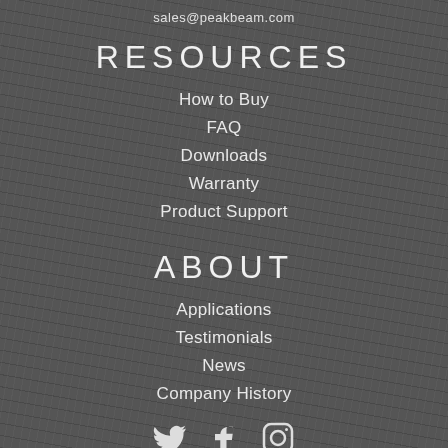sales@peakbeam.com
RESOURCES
How to Buy
FAQ
Downloads
Warranty
Product Support
ABOUT
Applications
Testimonials
News
Company History
[Figure (illustration): Social media icons: Twitter bird, Facebook f, Instagram camera]